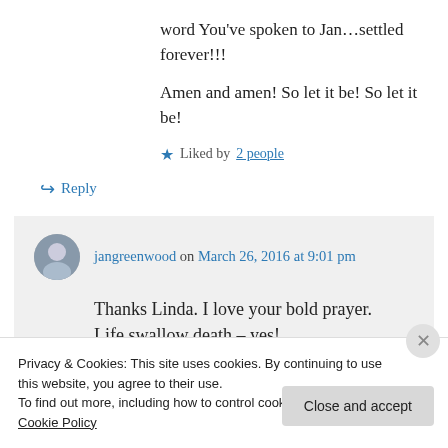word You've spoken to Jan…settled forever!!!
Amen and amen! So let it be! So let it be!
★ Liked by 2 people
↪ Reply
jangreenwood on March 26, 2016 at 9:01 pm
Thanks Linda. I love your bold prayer. Life swallow death – yes!
Privacy & Cookies: This site uses cookies. By continuing to use this website, you agree to their use.
To find out more, including how to control cookies, see here: Cookie Policy